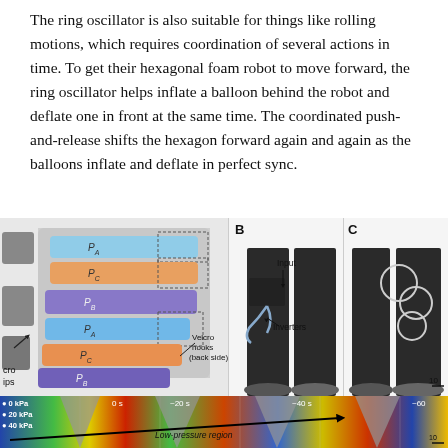The ring oscillator is also suitable for things like rolling motions, which requires coordination of several actions in time. To get their hexagonal foam robot to move forward, the ring oscillator helps inflate a balloon behind the robot and deflate one in front at the same time. The coordinated push-and-release shifts the hexagon forward again and again as the balloons inflate and deflate in perfect sync.
[Figure (schematic): Diagram showing a hexagonal foam robot layout with labeled pressure chambers PA, PC, PB, PA, PC, PB arranged in fan shape with Velcro hooks (back side) label and cro/ips label on left side.]
[Figure (photo): Photo B showing a person's legs with an input arrow pointing down and Inverters label, pneumatic soft robot device attached to leg with tubes.]
[Figure (photo): Photo C showing a person's legs with the inflated soft robot balloons attached, with scale bar of 10.]
[Figure (continuous-plot): Bottom heat map / pressure visualization strip showing time axis from 0s to ~60s with markers at 0s, ~20s, ~40s, ~60s. Pressure scale on left: 0 kPa, 20 kPa, 40 kPa. A diagonal arrow labeled Low-pressure region runs across the plot. Scale bar 10 on right.]